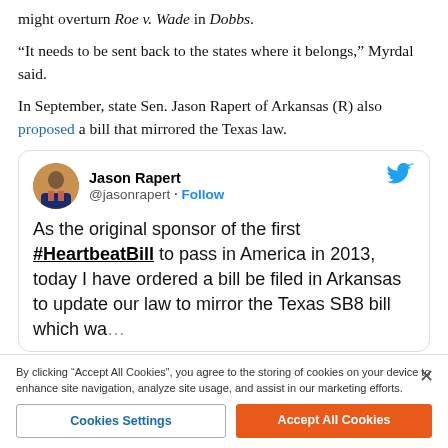might overturn Roe v. Wade in Dobbs.
“It needs to be sent back to the states where it belongs,” Myrdal said.
In September, state Sen. Jason Rapert of Arkansas (R) also proposed a bill that mirrored the Texas law.
[Figure (screenshot): Embedded tweet from @jasonrapert (Jason Rapert) with Twitter bird icon. Tweet text: As the original sponsor of the first #HeartbeatBill to pass in America in 2013, today I have ordered a bill be filed in Arkansas to update our law to mirror the Texas SB8 bill which was...]
By clicking “Accept All Cookies”, you agree to the storing of cookies on your device to enhance site navigation, analyze site usage, and assist in our marketing efforts.
Cookies Settings
Accept All Cookies